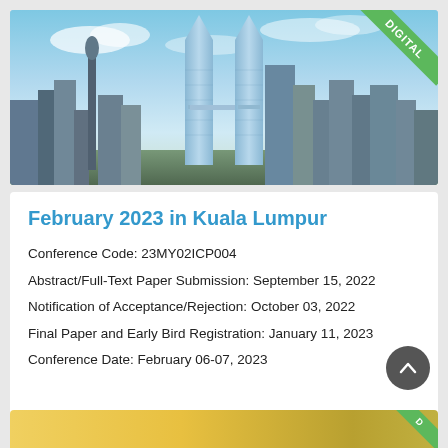[Figure (photo): City skyline of Kuala Lumpur with tall skyscrapers including the Petronas Twin Towers against a blue sky, with a green 'DIGITAL' ribbon in the top-right corner]
February 2023 in Kuala Lumpur
Conference Code: 23MY02ICP004
Abstract/Full-Text Paper Submission: September 15, 2022
Notification of Acceptance/Rejection: October 03, 2022
Final Paper and Early Bird Registration: January 11, 2023
Conference Date: February 06-07, 2023